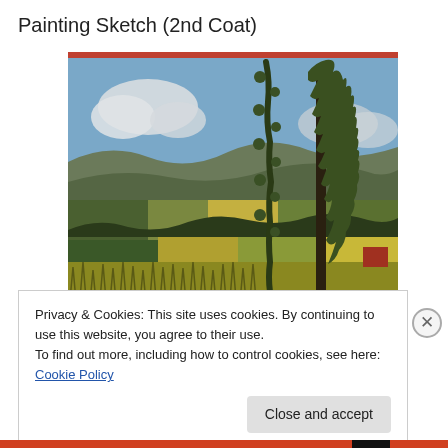Painting Sketch (2nd Coat)
[Figure (photo): A painting showing a rural English countryside landscape with rolling green hills, patchwork fields in yellow and green, a foreground of tall grass/wheat, a tall tree on the right side, and a blue sky with white clouds.]
Privacy & Cookies: This site uses cookies. By continuing to use this website, you agree to their use.
To find out more, including how to control cookies, see here: Cookie Policy